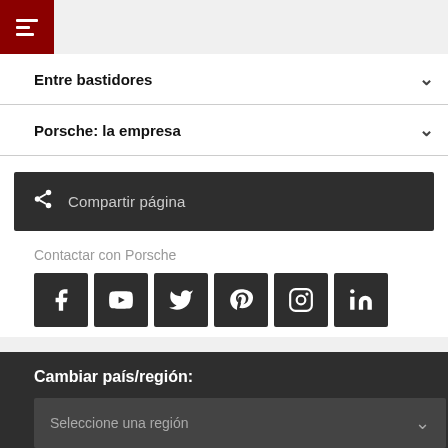Entre bastidores
Porsche: la empresa
Compartir página
Contactar con Porsche
[Figure (other): Social media icons: Facebook, YouTube, Twitter, Pinterest, Instagram, LinkedIn]
Cambiar país/región:
Seleccione una región